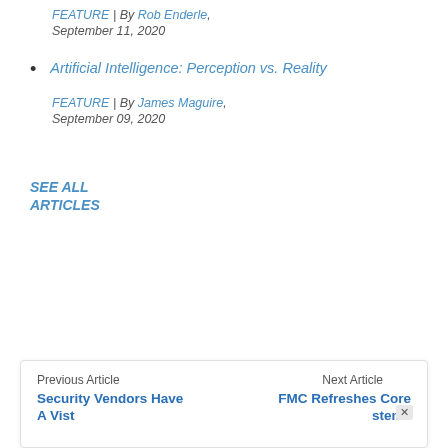FEATURE | By Rob Enderle, September 11, 2020
Artificial Intelligence: Perception vs. Reality
FEATURE | By James Maguire, September 09, 2020
SEE ALL
ARTICLES
Previous Article — Security Vendors Have A Vist... | Next Article — FMC Refreshes Core ...stems